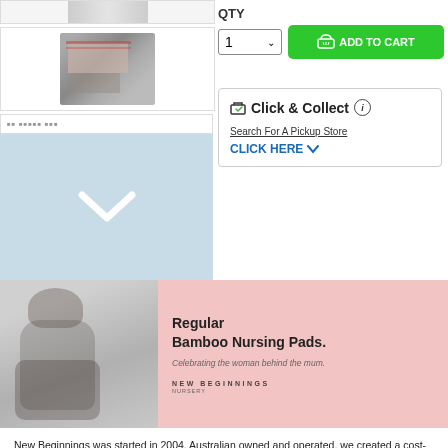[Figure (photo): Small product thumbnail at top, partially cut off]
[Figure (photo): Product thumbnail showing nursing pads packaging in a box]
[Figure (screenshot): QTY selector showing '1' with dropdown arrow and green ADD TO CART button with basket icon]
[Figure (screenshot): Scroll/navigation strip with blurred text and light blue chevron down area]
Click & Collect (i) Search For A Pickup Store CLICK HERE
[Figure (photo): Banner image: woman breastfeeding on left (grey background), pink right side with text 'Regular Bamboo Nursing Pads. Celebrating the woman behind the mum. NEW BEGINNINGS']
New Beginnings was started in 2004, Australian owned and operated, we created a cost-effective maternity range that enabled mums to feel